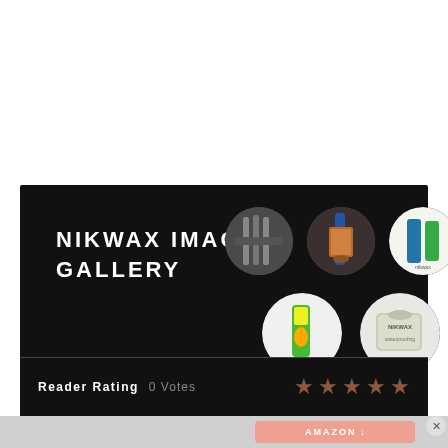NIKWAX IMAGE GALLERY
[Figure (photo): Five circular thumbnail images of Nikwax products arranged in two rows on a dark background]
Reader Rating  0 Votes